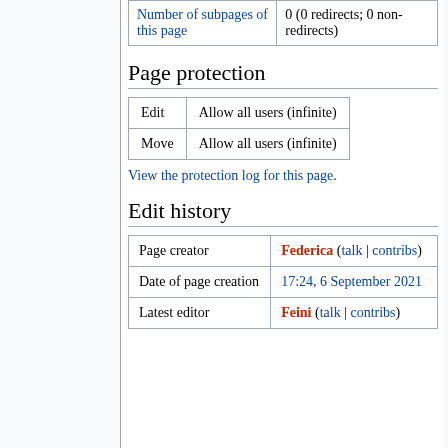| Number of subpages of this page |  |
| --- | --- |
| Number of subpages of this page | 0 (0 redirects; 0 non-redirects) |
Page protection
| Edit | Move |
| --- | --- |
| Edit | Allow all users (infinite) |
| Move | Allow all users (infinite) |
View the protection log for this page.
Edit history
| Page creator | Date of page creation | Latest editor |
| --- | --- | --- |
| Page creator | Federica (talk | contribs) |
| Date of page creation | 17:24, 6 September 2021 |
| Latest editor | Feini (talk | contribs) |